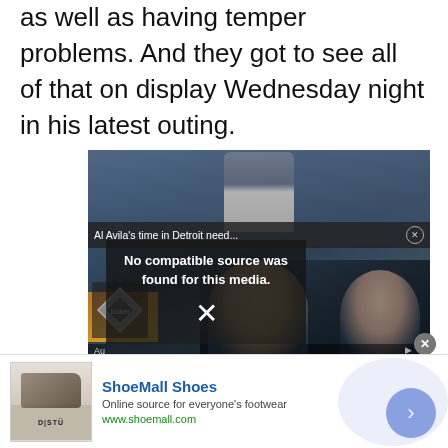as well as having temper problems. And they got to see all of that on display Wednesday night in his latest outing.
[Figure (screenshot): Video player showing a baseball pitcher throwing a ball, with overlay text 'Al Avila’s time in Detroit need...' and 'No compatible source was found for this media.' with an X icon. Looger logo visible bottom left. Faces of two men visible in lower portion.]
[Figure (screenshot): Advertisement banner for ShoeMall Shoes. Shows shoe product image on left (D|STU brand), text 'ShoeMall Shoes', 'Online source for everyone’s footwear', 'www.shoemall.com', with a blue circular arrow button on right.]